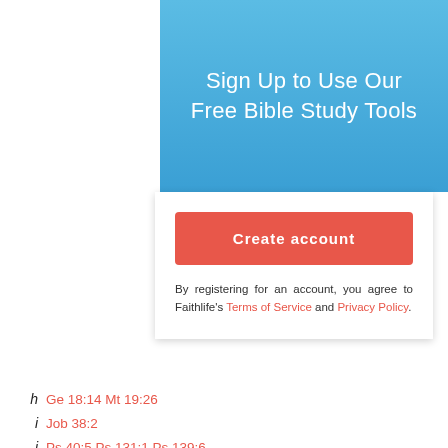Sign Up to Use Our Free Bible Study Tools
[Figure (screenshot): Create account button and sign-up card with Terms of Service and Privacy Policy links]
By registering for an account, you agree to Faithlife's Terms of Service and Privacy Policy.
h  Ge 18:14 Mt 19:26
i  Job 38:2
j  Ps 40:5 Ps 131:1 Ps 139:6
k  Job 38:3 Job 40:7
1  Or and am comforted
l  Job 30:19 Ge 18:27 Job 2:8
m  Job 2:11 1 Ch 1:45
n  Nu 23:1 1 Ch 15:26
o  Job 1:5